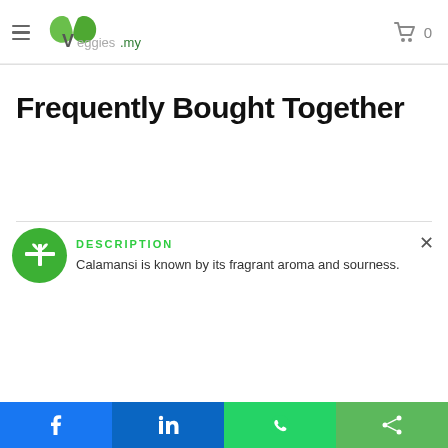Veggies.my — hamburger menu and cart (0 items)
Frequently Bought Together
DESCRIPTION
Calamansi is known by its fragrant aroma and sourness.
[Figure (logo): Green gift icon circle overlay on section]
Social share bar: Facebook, LinkedIn, WhatsApp, Share